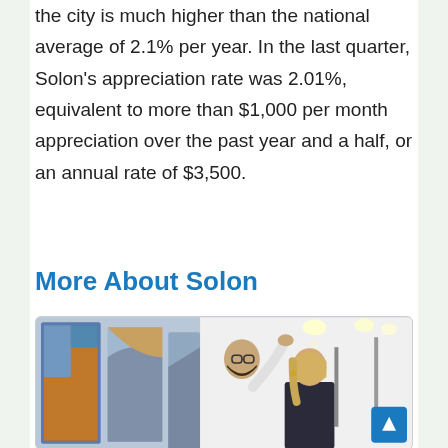the city is much higher than the national average of 2.1% per year. In the last quarter, Solon's appreciation rate was 2.01%, equivalent to more than $1,000 per month appreciation over the past year and a half, or an annual rate of $3,500.
More About Solon
[Figure (photo): Two people in an art gallery; a man with glasses and beard in a white shirt gesturing toward colorful paintings on the left, and a blonde woman in a dark jacket looking at artwork on the right. Gallery lighting visible in background.]